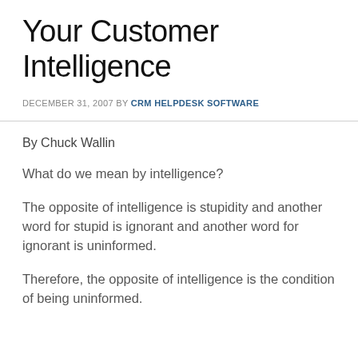Your Customer Intelligence
DECEMBER 31, 2007 BY CRM HELPDESK SOFTWARE
By Chuck Wallin
What do we mean by intelligence?
The opposite of intelligence is stupidity and another word for stupid is ignorant and another word for ignorant is uninformed.
Therefore, the opposite of intelligence is the condition of being uninformed.